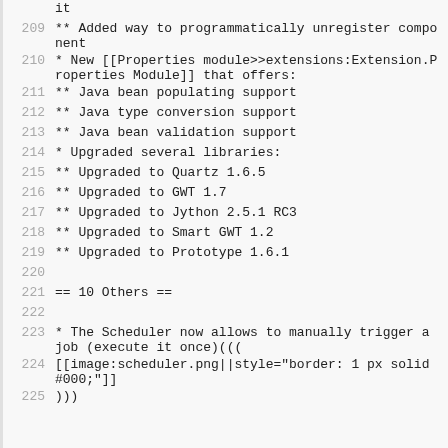it
209   ** Added way to programmatically unregister component
210   * New [[Properties module>>extensions:Extension.Properties Module]] that offers:
211   ** Java bean populating support
212   ** Java type conversion support
213   ** Java bean validation support
214   * Upgraded several libraries:
215   ** Upgraded to Quartz 1.6.5
216   ** Upgraded to GWT 1.7
217   ** Upgraded to Jython 2.5.1 RC3
218   ** Upgraded to Smart GWT 1.2
219   ** Upgraded to Prototype 1.6.1
220
221   == 10 Others ==
222
223   * The Scheduler now allows to manually trigger a job (execute it once)(((
224   [[image:scheduler.png||style="border: 1 px solid #000;"]]
225   )))